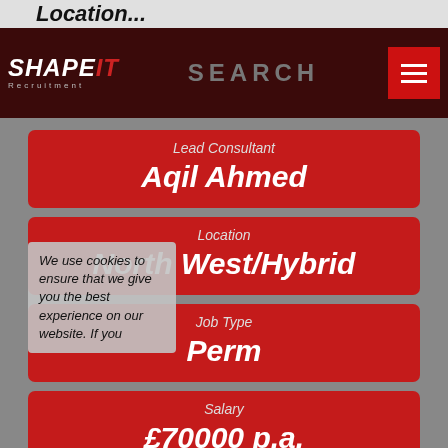SHAPE IT Recruitment — SEARCH
Lead Consultant
Aqil Ahmed
Location
North West/Hybrid
We use cookies to ensure that we give you the best experience on our website. If you
Job Type
Perm
Salary
£70000 p.a.